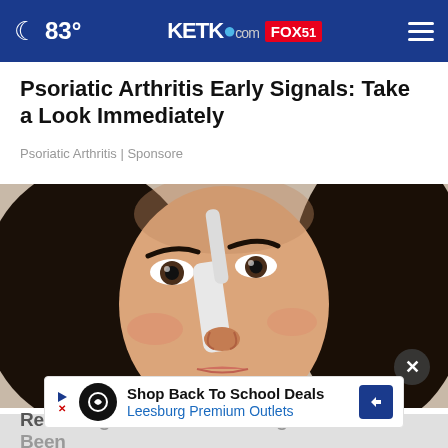83° KETK.com FOX51
Psoriatic Arthritis Early Signals: Take a Look Immediately
Psoriatic Arthritis | Sponsore
[Figure (photo): Close-up photo of a woman with dark hair applying something white (possibly a cream or strip) to the side of her nose with a small white applicator tool]
Shop Back To School Deals
Leesburg Premium Outlets
Removing Moles and Skin Tags Has Never Been